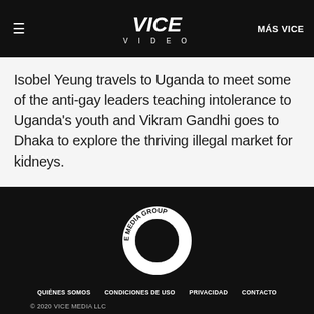≡  VICE VIDEO  MÁS VICE
Isobel Yeung travels to Uganda to meet some of the anti-gay leaders teaching intolerance to Uganda's youth and Vikram Gandhi goes to Dhaka to explore the thriving illegal market for kidneys.
[Figure (logo): VICE MEDIA GROUP circular text logo in white on black background]
QUIÉNES SOMOS  CONDICIONES DE USO  PRIVACIDAD  CONTACTO  © 2020 VICE MEDIA LLC